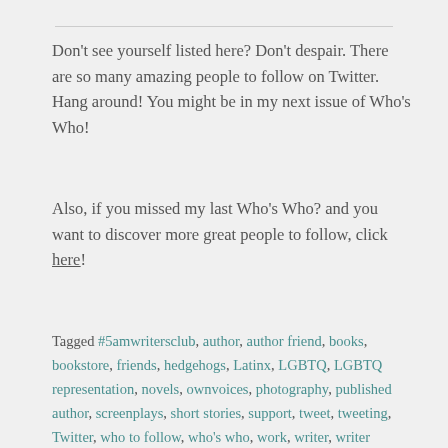Don't see yourself listed here? Don't despair. There are so many amazing people to follow on Twitter. Hang around! You might be in my next issue of Who's Who!
Also, if you missed my last Who's Who? and you want to discover more great people to follow, click here!
Tagged #5amwritersclub, author, author friend, books, bookstore, friends, hedgehogs, Latinx, LGBTQ, LGBTQ representation, novels, ownvoices, photography, published author, screenplays, short stories, support, tweet, tweeting, Twitter, who to follow, who's who, work, writer, writer friends, writer twitter, writing